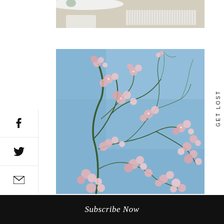[Figure (photo): Top portion of an indoor room photo showing a white table, decorative items, and a radiator against a beige wall.]
[Figure (photo): Cherry blossom branches with pink flowers against a clear blue sky, photographed from below looking up.]
f
Twitter bird icon
Email envelope icon
GET LOST
Subscribe Now